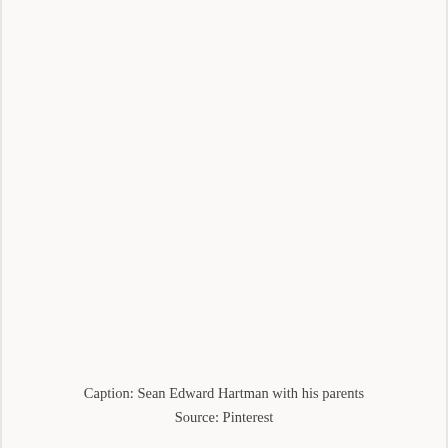[Figure (photo): A photograph (not visible/blank area) of Sean Edward Hartman with his parents, sourced from Pinterest.]
Caption: Sean Edward Hartman with his parents
Source: Pinterest